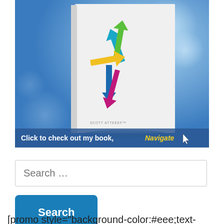[Figure (illustration): Book cover for 'Navigate' by Scott Atteeef showing colorful directional arrows (teal, green, yellow, magenta) on a white book spine against a blue bokeh background, with text 'Click to check out my book, Navigate' and a cursor icon at the bottom]
Search …
Search
[promo style="background-color:#eee;text-